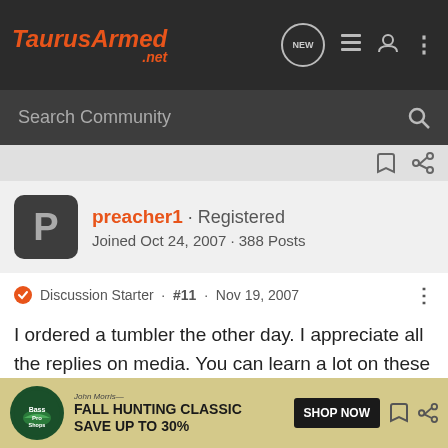TaurusArmed.net
Search Community
preacher1 · Registered
Joined Oct 24, 2007 · 388 Posts
Discussion Starter · #11 · Nov 19, 2007
I ordered a tumbler the other day. I appreciate all the replies on media. You can learn a lot on these forums. Thanks
[Figure (screenshot): Bass Pro Shops Fall Hunting Classic advertisement banner - FALL HUNTING CLASSIC SAVE UP TO 30% SHOP NOW]